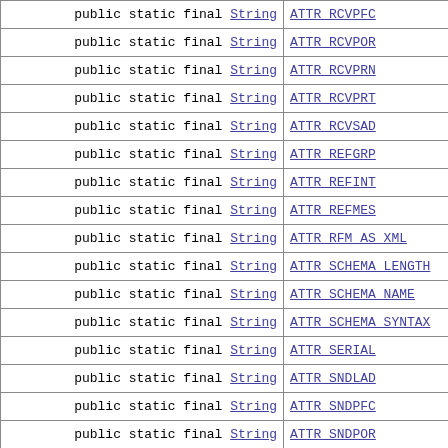| Modifier & Type | Field | Value |
| --- | --- | --- |
| public static final String | ATTR_RCVPFC | "i |
| public static final String | ATTR_RCVPOR |  |
| public static final String | ATTR_RCVPRN |  |
| public static final String | ATTR_RCVPRT |  |
| public static final String | ATTR_RCVSAD |  |
| public static final String | ATTR_REFGRP |  |
| public static final String | ATTR_REFINT |  |
| public static final String | ATTR_REFMES |  |
| public static final String | ATTR_RFM_AS_XML |  |
| public static final String | ATTR_SCHEMA_LENGTH |  |
| public static final String | ATTR_SCHEMA_NAME |  |
| public static final String | ATTR_SCHEMA_SYNTAX |  |
| public static final String | ATTR_SERIAL |  |
| public static final String | ATTR_SNDLAD |  |
| public static final String | ATTR_SNDPFC |  |
| public static final String | ATTR_SNDPOR |  |
| public static final String | ATTR_SNDPRN |  |
| public static final String | ATTR_SNDPRT |  |
| public static final String | ATTR_SNDSAD |  |
| public static final String | ATTR_STATUS |  |